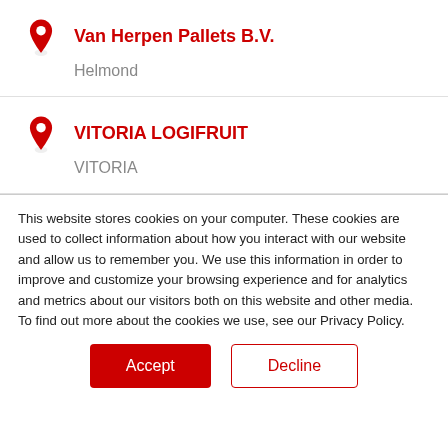Van Herpen Pallets B.V.
Helmond
VITORIA LOGIFRUIT
VITORIA
This website stores cookies on your computer. These cookies are used to collect information about how you interact with our website and allow us to remember you. We use this information in order to improve and customize your browsing experience and for analytics and metrics about our visitors both on this website and other media. To find out more about the cookies we use, see our Privacy Policy.
Accept
Decline